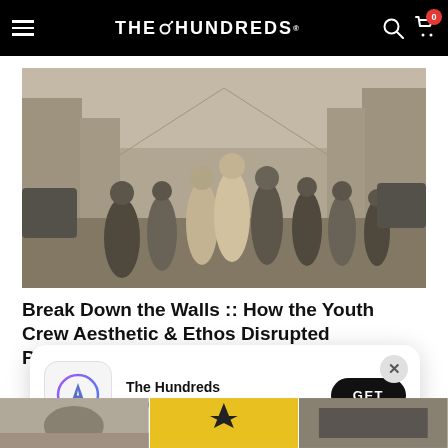THE HUNDREDS
[Figure (photo): Black and white photo of a large group of young men walking down a city street, youth crew style clothing including varsity jackets, hoodies, and jeans]
Break Down the Walls :: How the Youth Crew Aesthetic & Ethos Disrupted Punk's Status Quo
[Figure (screenshot): App store popup for The Hundreds app with App Store icon, text 'The Hundreds / Download Now', and a GET button]
[Figure (photo): Three small thumbnail images at the bottom of the page]